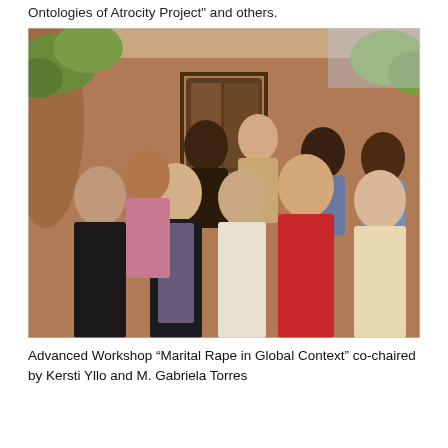Ontologies of Atrocity Project" and others.
[Figure (photo): Group photo of approximately ten women standing in front of an adobe-style building with a wooden door. The women are dressed in professional attire. The group includes participants of the Advanced Workshop on Marital Rape in Global Context.]
Advanced Workshop “Marital Rape in Global Context” co-chaired by Kersti Yllo and M. Gabriela Torres